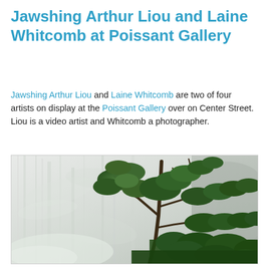Jawshing Arthur Liou and Laine Whitcomb at Poissant Gallery
Jawshing Arthur Liou and Laine Whitcomb are two of four artists on display at the Poissant Gallery over on Center Street. Liou is a video artist and Whitcomb a photographer.
[Figure (photo): Photograph showing a pine tree with dense green foliage in front of a misty waterfall and rocky cliff face. The waterfall creates a soft grey-white background while the tree is in sharp focus on the right side of the frame.]